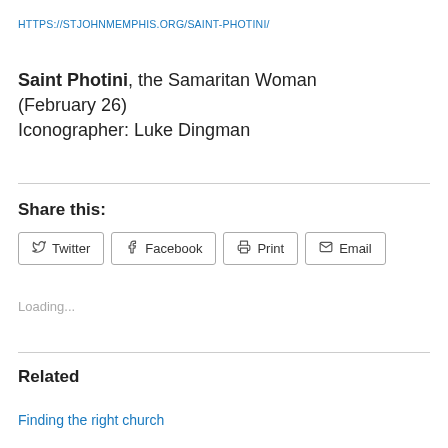HTTPS://STJOHNMEMPHIS.ORG/SAINT-PHOTINI/
Saint Photini, the Samaritan Woman (February 26)
Iconographer: Luke Dingman
Share this:
Twitter  Facebook  Print  Email
Loading...
Related
Finding the right church